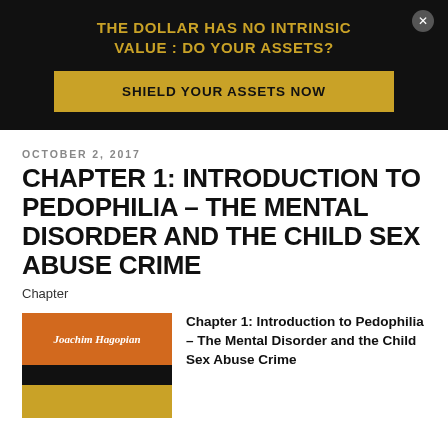[Figure (other): Advertisement banner with black background. Headline: 'THE DOLLAR HAS NO INTRINSIC VALUE : DO YOUR ASSETS?' and a gold button 'SHIELD YOUR ASSETS NOW'. Close button in top right.]
OCTOBER 2, 2017
CHAPTER 1: INTRODUCTION TO PEDOPHILIA – THE MENTAL DISORDER AND THE CHILD SEX ABUSE CRIME
Chapter
[Figure (photo): Book cover showing 'Joachim Hagopian' text on orange background, with black stripe below and bottom section partially visible]
Chapter 1: Introduction to Pedophilia – The Mental Disorder and the Child Sex Abuse Crime